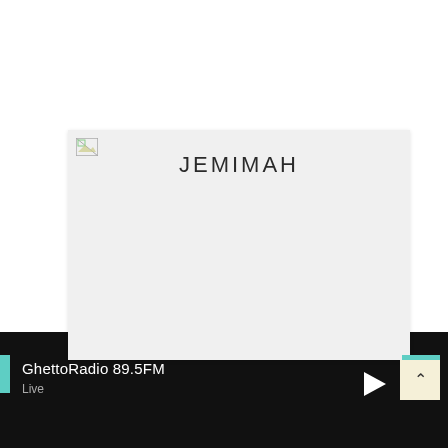[Figure (screenshot): A light gray card panel with a broken image icon in the top-left corner and the text JEMIMAH centered near the top]
JEMIMAH
GhettoRadio 89.5FM
Live